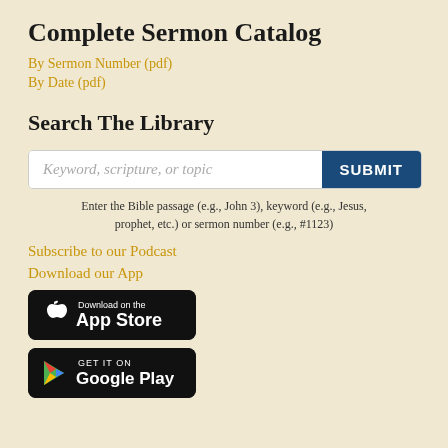Complete Sermon Catalog
By Sermon Number (pdf)
By Date (pdf)
Search The Library
Keyword, scripture, or topic [SUBMIT button]
Enter the Bible passage (e.g., John 3), keyword (e.g., Jesus, prophet, etc.) or sermon number (e.g., #1123)
Subscribe to our Podcast
Download our App
[Figure (logo): Download on the App Store badge (black)]
[Figure (logo): Get it on Google Play badge (black)]